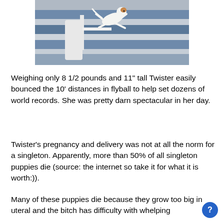[Figure (photo): A small dog (Jack Russell Terrier) mid-leap/jump over a hurdle in what appears to be an indoor flyball or agility competition arena with blue striped flooring.]
Weighing only 8 1/2 pounds and 11" tall  Twister easily bounced the 10' distances in flyball to help set dozens of world records. She was pretty darn spectacular in her day.
Twister's pregnancy and delivery was not at all the norm for a singleton. Apparently, more than 50% of all singleton puppies die (source: the internet so take it for what it is worth:)).
Many of these puppies die because they grow too big in uteral and the bitch has difficulty with whelping